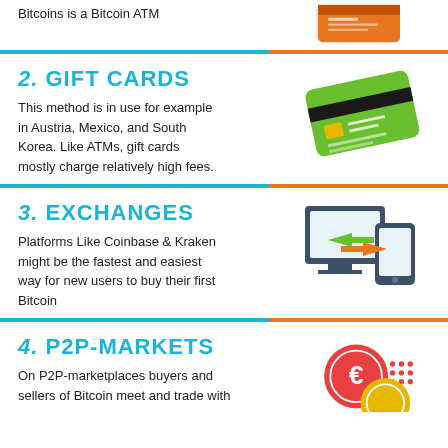Bitcoins is a Bitcoin ATM
[Figure (illustration): Orange credit/debit card illustration]
2. GIFT CARDS
This method is in use for example in Austria, Mexico, and South Korea. Like ATMs, gift cards mostly charge relatively high fees.
[Figure (illustration): Green credit card illustration]
3. EXCHANGES
Platforms Like Coinbase & Kraken might be the fastest and easiest way for new users to buy their first Bitcoin
[Figure (illustration): Computer monitor and mobile phone with exchange arrows illustration]
4. P2P-MARKETS
On P2P-marketplaces buyers and sellers of Bitcoin meet and trade with